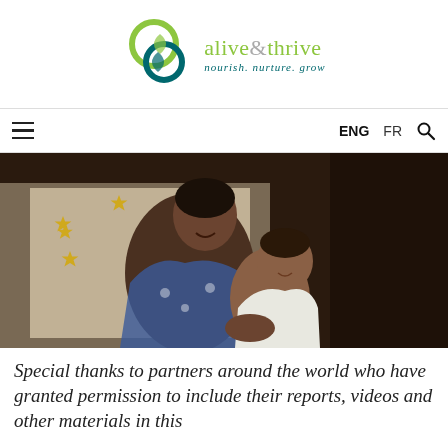[Figure (logo): Alive & Thrive logo with circular icon and text 'alive & thrive nourish. nurture. grow']
ENG  FR
[Figure (photo): A smiling woman holding a baby, both looking at the camera, seated in front of a decorative cloth with yellow floral pattern]
Special thanks to partners around the world who have granted permission to include their reports, videos and other materials in this